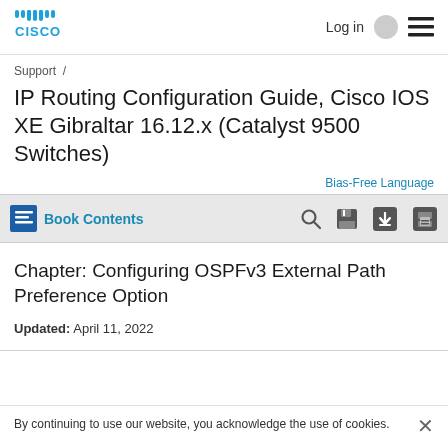Cisco | Log in | Menu
Support /
IP Routing Configuration Guide, Cisco IOS XE Gibraltar 16.12.x (Catalyst 9500 Switches)
Bias-Free Language
Book Contents
Chapter: Configuring OSPFv3 External Path Preference Option
Updated: April 11, 2022
By continuing to use our website, you acknowledge the use of cookies.